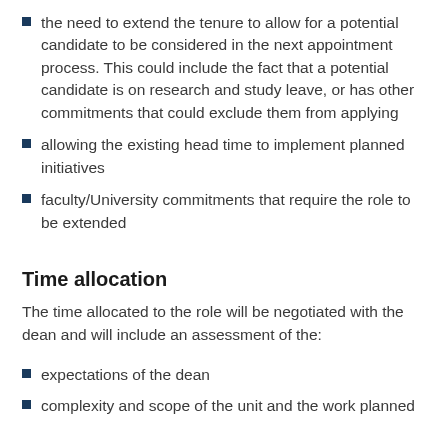the need to extend the tenure to allow for a potential candidate to be considered in the next appointment process. This could include the fact that a potential candidate is on research and study leave, or has other commitments that could exclude them from applying
allowing the existing head time to implement planned initiatives
faculty/University commitments that require the role to be extended
Time allocation
The time allocated to the role will be negotiated with the dean and will include an assessment of the:
expectations of the dean
complexity and scope of the unit and the work planned